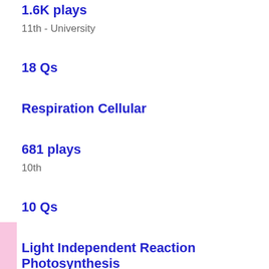1.6K plays
11th - University
18 Qs
Respiration Cellular
681 plays
10th
10 Qs
Light Independent Reaction Photosynthesis
881 plays